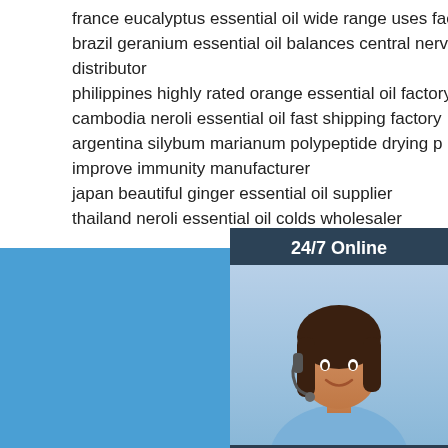france eucalyptus essential oil wide range uses factory outlet
brazil geranium essential oil balances central nervous distributor
philippines highly rated orange essential oil factory outlet
cambodia neroli essential oil fast shipping factory
argentina silybum marianum polypeptide drying improve immunity manufacturer
japan beautiful ginger essential oil supplier
thailand neroli essential oil colds wholesaler
[Figure (photo): Customer service representative with headset, 24/7 Online chat widget with QUOTATION button]
Tel
15517160690
Phone
+86 15517160690
Fax
+86 15517160690
[Figure (logo): TOP logo with orange dots arranged in triangle]